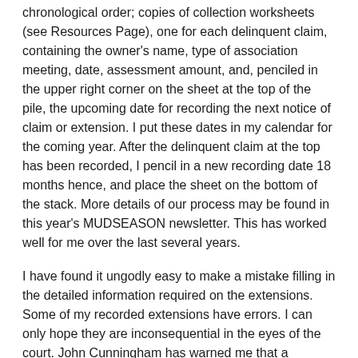chronological order; copies of collection worksheets (see Resources Page), one for each delinquent claim, containing the owner's name, type of association meeting, date, assessment amount, and, penciled in the upper right corner on the sheet at the top of the pile, the upcoming date for recording the next notice of claim or extension. I put these dates in my calendar for the coming year. After the delinquent claim at the top has been recorded, I pencil in a new recording date 18 months hence, and place the sheet on the bottom of the stack. More details of our process may be found in this year's MUDSEASON newsletter. This has worked well for me over the last several years.
I have found it ungodly easy to make a mistake filling in the detailed information required on the extensions. Some of my recorded extensions have errors. I can only hope they are inconsequential in the eyes of the court. John Cunningham has warned me that a mistaken date or other entry on an extension can invalidate a claim. Our vice-president now checks the accuracy of my claims prior to recording. I hope this helps.
Last modified: 08 Jun 2021 9:01 AM | Anonymous member